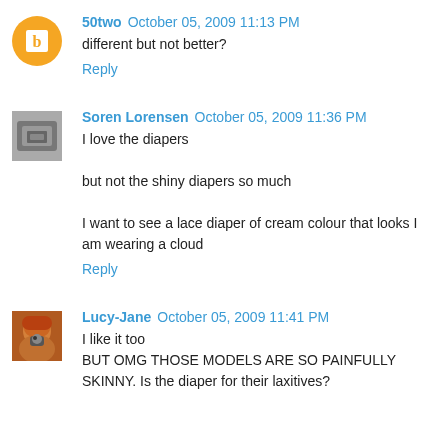50two  October 05, 2009 11:13 PM
different but not better?
Reply
Soren Lorensen  October 05, 2009 11:36 PM
I love the diapers

but not the shiny diapers so much

I want to see a lace diaper of cream colour that looks I am wearing a cloud
Reply
Lucy-Jane  October 05, 2009 11:41 PM
I like it too
BUT OMG THOSE MODELS ARE SO PAINFULLY SKINNY. Is the diaper for their laxitives?